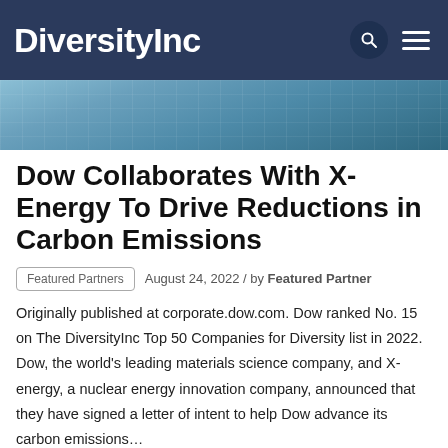DiversityInc
[Figure (photo): Exterior photo of a modern glass office building with blue reflective glass facade]
Dow Collaborates With X-Energy To Drive Reductions in Carbon Emissions
Featured Partners   August 24, 2022 / by Featured Partner
Originally published at corporate.dow.com. Dow ranked No. 15 on The DiversityInc Top 50 Companies for Diversity list in 2022.   Dow, the world's leading materials science company, and X-energy, a nuclear energy innovation company, announced that they have signed a letter of intent to help Dow advance its carbon emissions…